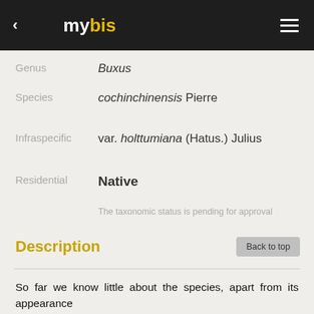mybis
Genus	Buxus
Species	cochinchinensis Pierre
Infraspecific	var. holttumiana (Hatus.) Julius
Residential	Native
The taxonomic status is pending for approval
Description
So far we know little about the species, apart from its appearance